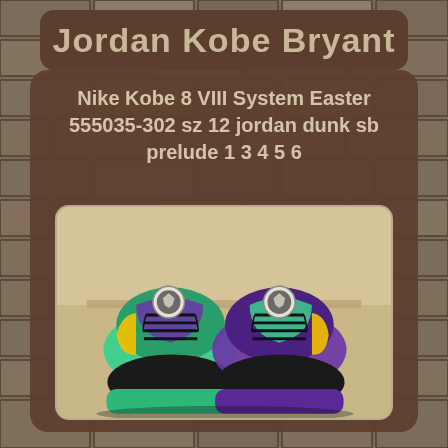Jordan Kobe Bryant
Nike Kobe 8 VIII System Easter 555035-302 sz 12 jordan dunk sb prelude 1 3 4 5 6
[Figure (photo): Overhead top-down view of Nike Kobe 8 VIII System Easter edition sneakers in green/teal, black laces, purple and yellow accents, with Mamba logo on tongue]